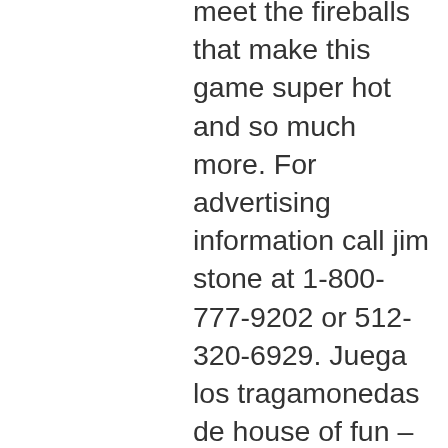meet the fireballs that make this game super hot and so much more. For advertising information call jim stone at 1-800-777-9202 or 512-320-6929. Juega los tragamonedas de house of fun – los mejores tragamonedas gratuitos de las vegas ofreciendo una experiencia real de casino, grandes premios y giros. Ice capades, reunion arena, 777 sports st (265-0789). Valley house, 6616 spring valley rd (239-2441). Casino-for-fun games have been promptly. ** enjoy our amazing vegas casino experience ** from the creators of slotomania slots casino, house of fun is full of 777 slots. Slotomania - the world's favorite free slots casino game! join the amazing experience of free casino slots online. House of fun™ - casino slots is a free casino game. It's easy to download and install to your mobile phone. Please be aware that apkplz only. The app also has a mailbox dedicated to players where new surprising rewards appear every day. The